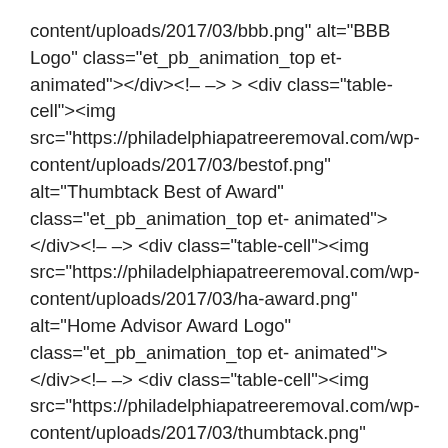content/uploads/2017/03/bbb.png" alt="BBB Logo" class="et_pb_animation_top et-animated"></div><!– –> <div class="table-cell"><img src="https://philadelphiapatreeremoval.com/wp-content/uploads/2017/03/bestof.png" alt="Thumbtack Best of Award" class="et_pb_animation_top et-animated"></div><!– –> <div class="table-cell"><img src="https://philadelphiapatreeremoval.com/wp-content/uploads/2017/03/ha-award.png" alt="Home Advisor Award Logo" class="et_pb_animation_top et-animated"></div><!– –> <div class="table-cell"><img src="https://philadelphiapatreeremoval.com/wp-content/uploads/2017/03/thumbtack.png" alt="Thumbtack Award Logo" class="et_pb_animation_top et-animated"></div><!– –></div>
Philadelphia Tree Removal Logo GET AROUND
Home